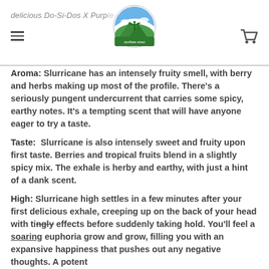delicious Do-Si-Dos X Purple strains.
Aroma: Slurricane has an intensely fruity smell, with berry and herbs making up most of the profile. There's a seriously pungent undercurrent that carries some spicy, earthy notes. It's a tempting scent that will have anyone eager to try a taste.
Taste: Slurricane is also intensely sweet and fruity upon first taste. Berries and tropical fruits blend in a slightly spicy mix. The exhale is herby and earthy, with just a hint of a dank scent.
High: Slurricane high settles in a few minutes after your first delicious exhale, creeping up on the back of your head with tingly effects before suddenly taking hold. You'll feel a soaring euphoria grow and grow, filling you with an expansive happiness that pushes out any negative thoughts. A potent